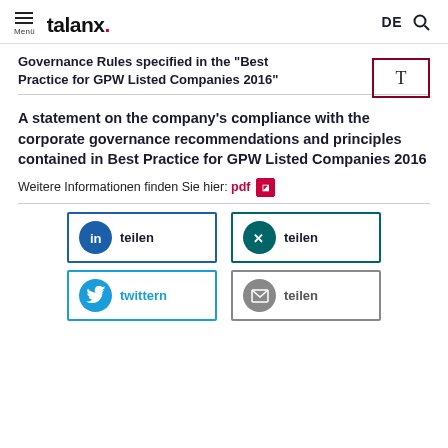talanx. | DE
Governance Rules specified in the “Best Practice for GPW Listed Companies 2016”
A statement on the company's compliance with the corporate governance recommendations and principles contained in Best Practice for GPW Listed Companies 2016
Weitere Informationen finden Sie hier: pdf
[Figure (other): Social share buttons: LinkedIn teilen, XING teilen, Twitter twittern, Email teilen]